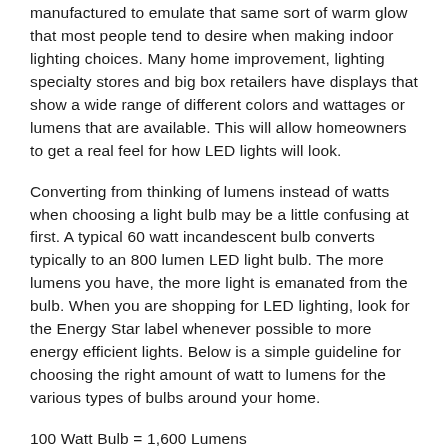manufactured to emulate that same sort of warm glow that most people tend to desire when making indoor lighting choices. Many home improvement, lighting specialty stores and big box retailers have displays that show a wide range of different colors and wattages or lumens that are available. This will allow homeowners to get a real feel for how LED lights will look.
Converting from thinking of lumens instead of watts when choosing a light bulb may be a little confusing at first. A typical 60 watt incandescent bulb converts typically to an 800 lumen LED light bulb. The more lumens you have, the more light is emanated from the bulb. When you are shopping for LED lighting, look for the Energy Star label whenever possible to more energy efficient lights. Below is a simple guideline for choosing the right amount of watt to lumens for the various types of bulbs around your home.
100 Watt Bulb = 1,600 Lumens
60 Watt Bulb = 800 Lumens